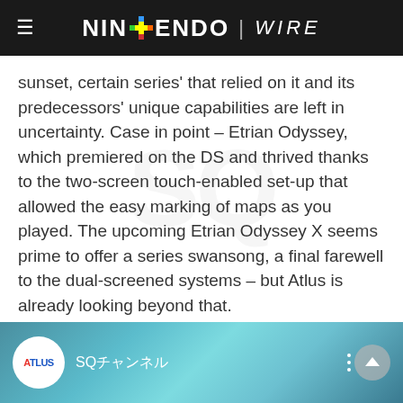NINTENDO | WIRE
sunset, certain series’ that relied on it and its predecessors’ unique capabilities are left in uncertainty. Case in point – Etrian Odyssey, which premiered on the DS and thrived thanks to the two-screen touch-enabled set-up that allowed the easy marking of maps as you played. The upcoming Etrian Odyssey X seems prime to offer a series swansong, a final farewell to the dual-screened systems – but Atlus is already looking beyond that.
[Figure (screenshot): Video thumbnail showing Atlus logo (white circle with ATLUS text) on a teal/blue gradient background, with channel name SQチャンネル and a three-dot menu icon and up-arrow button on the right.]